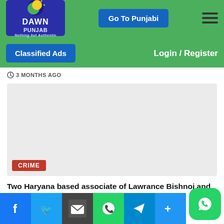Dawn Punjab - Nothing but Authentic | Go To Punjabi | Login / Register
3 MONTHS AGO
[Figure (photo): Light gray placeholder image with CRIME badge overlay at bottom left]
Two Haryana based associate of Lawrance Bishnoi and another arrested on behalf of SSP